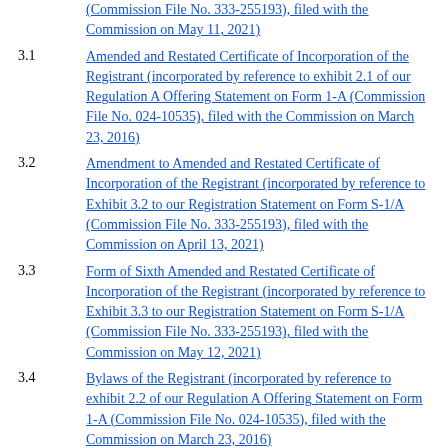(Commission File No. 333-255193), filed with the Commission on May 11, 2021)
3.1 Amended and Restated Certificate of Incorporation of the Registrant (incorporated by reference to exhibit 2.1 of our Regulation A Offering Statement on Form 1-A (Commission File No. 024-10535), filed with the Commission on March 23, 2016)
3.2 Amendment to Amended and Restated Certificate of Incorporation of the Registrant (incorporated by reference to Exhibit 3.2 to our Registration Statement on Form S-1/A (Commission File No. 333-255193), filed with the Commission on April 13, 2021)
3.3 Form of Sixth Amended and Restated Certificate of Incorporation of the Registrant (incorporated by reference to Exhibit 3.3 to our Registration Statement on Form S-1/A (Commission File No. 333-255193), filed with the Commission on May 12, 2021)
3.4 Bylaws of the Registrant (incorporated by reference to exhibit 2.2 of our Regulation A Offering Statement on Form 1-A (Commission File No. 024-10535), filed with the Commission on March 23, 2016)
3.5 Form of Amended and Restated Bylaws of Registrant (incorporated by reference to Exhibit 3.5 to our Registration Statement on Form S-1/A (Commission File No. 333-255193), filed with the Commission on May 12, 2021)
4.1 Form of Common Stock Certificate (incorporated by reference to Exhibit 4.1 to our Registration Statement on